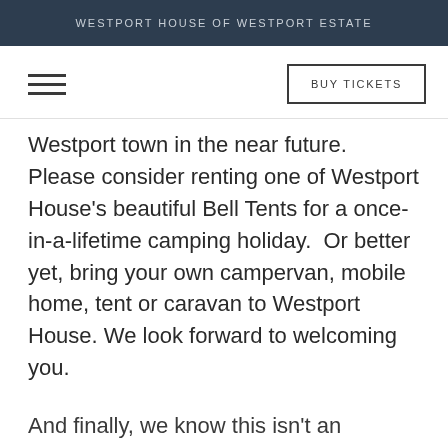WESTPORT HOUSE OF WESTPORT ESTATE
[Figure (other): Hamburger menu icon (three horizontal lines)]
BUY TICKETS
Westport town in the near future.  Please consider renting one of Westport House's beautiful Bell Tents for a once-in-a-lifetime camping holiday.  Or better yet, bring your own campervan, mobile home, tent or caravan to Westport House. We look forward to welcoming you.
And finally, we know this isn't an exhaustive list,